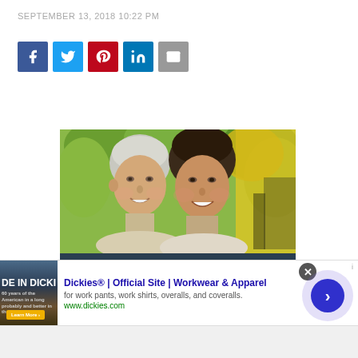SEPTEMBER 13, 2018 10:22 PM
[Figure (screenshot): Social sharing icons: Facebook (blue), Twitter (light blue), Pinterest (red), LinkedIn (blue), Email (gray)]
[Figure (photo): Photo of two smiling women (older and younger) outdoors with green and yellow background, above a dark banner reading NOW OPEN]
[Figure (screenshot): Advertisement banner for Dickies - Official Site - Workwear & Apparel. Shows thumbnail image with text DE IN DICKIES, ad title, description 'for work pants, work shirts, overalls, and coveralls.', URL www.dickies.com, close button, and forward arrow circle button]